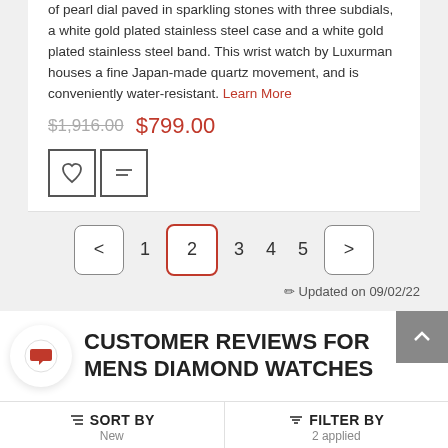of pearl dial paved in sparkling stones with three subdials, a white gold plated stainless steel case and a white gold plated stainless steel band. This wrist watch by Luxurman houses a fine Japan-made quartz movement, and is conveniently water-resistant. Learn More
$1,916.00 $799.00
[Figure (other): Wishlist and compare icon buttons]
[Figure (other): Pagination bar with pages 1, 2 (active), 3, 4, 5 and prev/next arrows]
Updated on 09/02/22
CUSTOMER REVIEWS FOR MENS DIAMOND WATCHES
SORT BY New
FILTER BY 2 applied